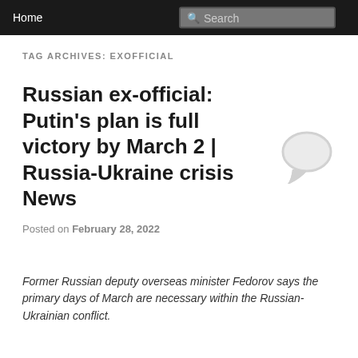Home
TAG ARCHIVES: EXOFFICIAL
Russian ex-official: Putin’s plan is full victory by March 2 | Russia-Ukraine crisis News
Posted on February 28, 2022
Former Russian deputy overseas minister Fedorov says the primary days of March are necessary within the Russian-Ukrainian conflict.